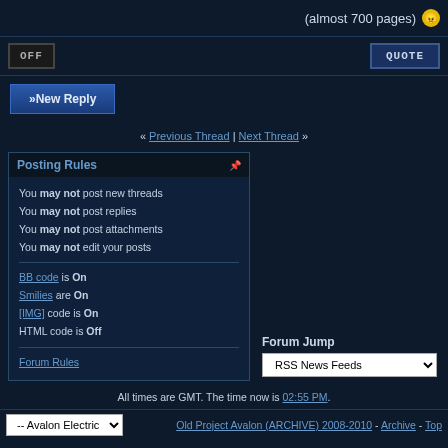(almost 700 pages)
OFF
QUOTE
>> New Reply
« Previous Thread | Next Thread »
Posting Rules
You may not post new threads
You may not post replies
You may not post attachments
You may not edit your posts

BB code is On
Smilies are On
[IMG] code is On
HTML code is Off

Forum Rules
Forum Jump
RSS News Feeds
All times are GMT. The time now is 02:55 PM.
-- Avalon Electric
Old Project Avalon (ARCHIVE) 2008-2010 - Archive - Top
Powered by vBulletin® Version 3.8.4
Copyright ©2000 - 2022, Jelsoft Enterprises Ltd.
Project Avalon